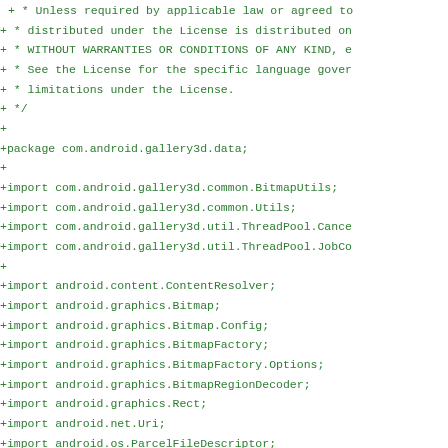+ * Unless required by applicable law or agreed to
+ * distributed under the License is distributed on
+ * WITHOUT WARRANTIES OR CONDITIONS OF ANY KIND, e
+ * See the License for the specific language gover
+ * limitations under the License.
+ */
+
+package com.android.gallery3d.data;
+
+import com.android.gallery3d.common.BitmapUtils;
+import com.android.gallery3d.common.Utils;
+import com.android.gallery3d.util.ThreadPool.Cance
+import com.android.gallery3d.util.ThreadPool.JobCo
+
+import android.content.ContentResolver;
+import android.graphics.Bitmap;
+import android.graphics.Bitmap.Config;
+import android.graphics.BitmapFactory;
+import android.graphics.BitmapFactory.Options;
+import android.graphics.BitmapRegionDecoder;
+import android.graphics.Rect;
+import android.net.Uri;
+import android.os.ParcelFileDescriptor;
+
+import java.io.FileDescriptor;
+import java.io.FileInputStream;
+
+public class DecodeUtils {
+    private static final String TAG = "DecodeServi
+